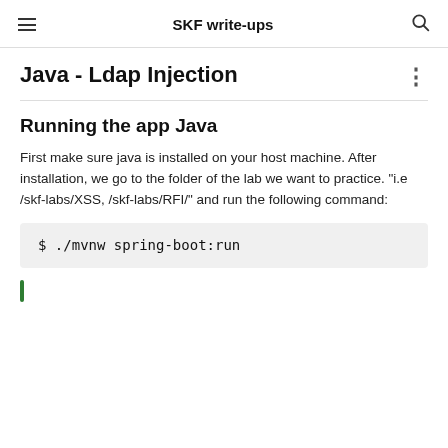SKF write-ups
Java - Ldap Injection
Running the app Java
First make sure java is installed on your host machine. After installation, we go to the folder of the lab we want to practice. "i.e /skf-labs/XSS, /skf-labs/RFI/" and run the following command:
$ ./mvnw spring-boot:run